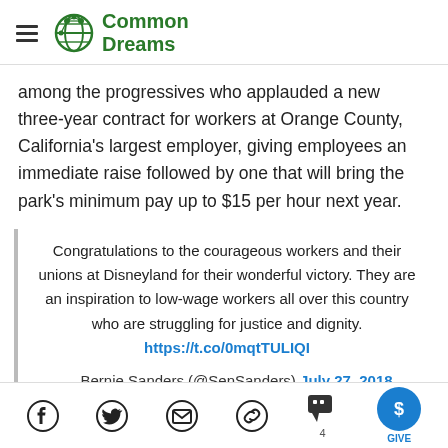Common Dreams
among the progressives who applauded a new three-year contract for workers at Orange County, California's largest employer, giving employees an immediate raise followed by one that will bring the park's minimum pay up to $15 per hour next year.
Congratulations to the courageous workers and their unions at Disneyland for their wonderful victory. They are an inspiration to low-wage workers all over this country who are struggling for justice and dignity. https://t.co/0mqtTULIQI
— Bernie Sanders (@SenSanders) July 27, 2018
Facebook Twitter Email Link Comments 4 GIVE